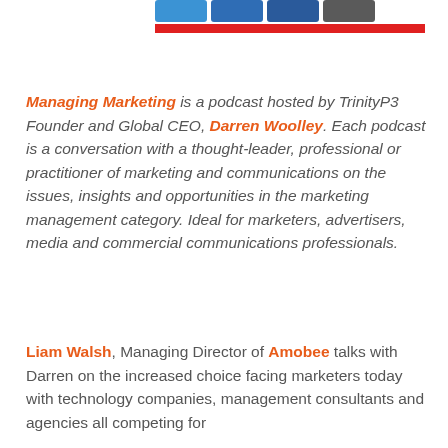[Figure (other): Social media icon buttons (blue shades and dark gray) with a red horizontal bar below them]
Managing Marketing is a podcast hosted by TrinityP3 Founder and Global CEO, Darren Woolley. Each podcast is a conversation with a thought-leader, professional or practitioner of marketing and communications on the issues, insights and opportunities in the marketing management category. Ideal for marketers, advertisers, media and commercial communications professionals.
Liam Walsh, Managing Director of Amobee talks with Darren on the increased choice facing marketers today with technology companies, management consultants and agencies all competing for